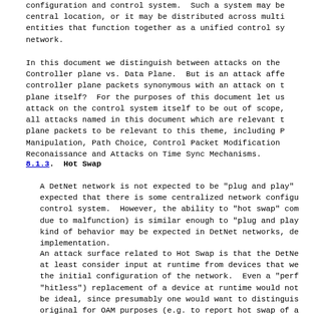configuration and control system.  Such a system may be located at a central location, or it may be distributed across multiple entities that function together as a unified control system over a network.
In this document we distinguish between attacks on the Controller plane vs. Data Plane.  But is an attack affecting controller plane packets synonymous with an attack on the control plane itself?  For the purposes of this document let us consider attack on the control system itself to be out of scope, and all attacks named in this document which are relevant to control plane packets to be relevant to this theme, including Path Manipulation, Path Choice, Control Packet Modification, Reconaissance and Attacks on Time Sync Mechanisms.
8.1.3.  Hot Swap
A DetNet network is not expected to be "plug and play" - it is expected that there is some centralized network configuration control system.  However, the ability to "hot swap" components (due to malfunction) is similar enough to "plug and play" that this kind of behavior may be expected in DetNet networks, depending on implementation.
An attack surface related to Hot Swap is that the DetNet must at least consider input at runtime from devices that were not part of the initial configuration of the network.  Even a "perfect" (or "hitless") replacement of a device at runtime would not necessarily be ideal, since presumably one would want to distinguish it from the original for OAM purposes (e.g. to report hot swap of a